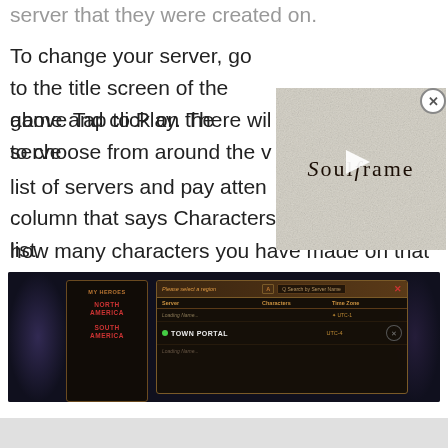server that they were created on.
To change your server, go to the title screen of the game and click on the server above Tap to Play. There will be a list of servers to choose from around the world. Scroll through this list of servers and pay attention to the column that says Characters. Each server will list how many characters you have made on that server, so select the one with your character on it.
[Figure (screenshot): Soulframe game logo video thumbnail overlay with play button]
[Figure (screenshot): In-game server selection screen showing My Heroes panel on left with North America and South America regions, and a dialog showing server list with columns for Server, Characters, Time Zone. Town Portal server listed with UTC-4 time zone.]